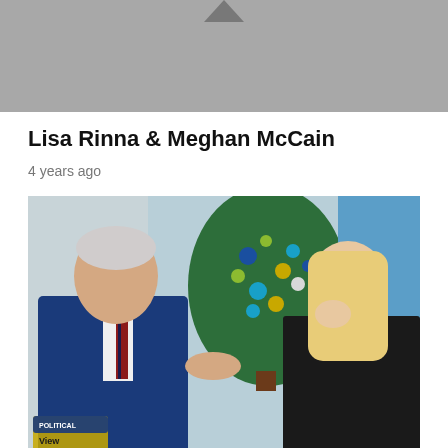[Figure (photo): Gray thumbnail image with a dark play arrow triangle at the top center - video thumbnail placeholder]
Lisa Rinna & Meghan McCain
4 years ago
[Figure (photo): Photo from The View TV show: an older man in a blue suit with striped tie pointing at a blonde woman in a black outfit who is wiping a tear; a decorated Christmas tree with blue, gold, and green ornaments is in the background; The Political View logo appears in the bottom left corner]